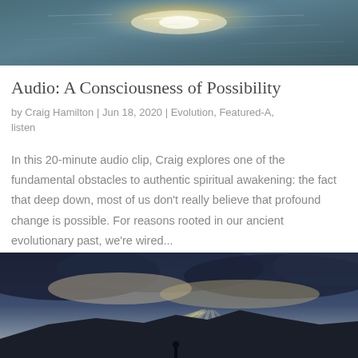[Figure (photo): Ocean water with sunlight reflecting on the surface, viewed from above]
Audio: A Consciousness of Possibility
by Craig Hamilton | Jun 18, 2020 | Evolution, Featured-A, listen
In this 20-minute audio clip, Craig explores one of the fundamental obstacles to authentic spiritual awakening: the fact that deep down, most of us don't really believe that profound change is possible. For reasons rooted in our ancient evolutionary past, we're wired...
[Figure (photo): Dramatic sky with sunrays breaking through dark clouds over a mountain silhouette with a small human figure]